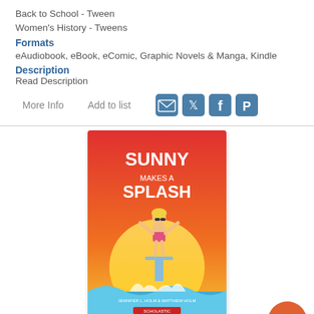Back to School - Tween
Women's History - Tweens
Formats
eAudiobook, eBook, eComic, Graphic Novels & Manga, Kindle
Description
Read Description
More Info    Add to list
[Figure (illustration): Book cover of 'Sunny Makes a Splash' by Jennifer L. Holm & Matthew Holm. Red-to-yellow gradient background with a cartoon girl in a swimsuit on a diving board, arms raised. Blue wave at bottom. Scholastic logo.]
20) Sunny Makes a Splash: Sunny Series, Book 4